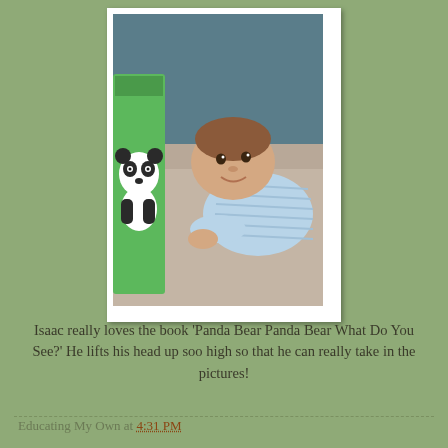[Figure (photo): A baby lying on his stomach looking up at the camera, with a panda bear book (Panda Bear Panda Bear What Do You See?) propped next to him. The baby is wearing a blue striped outfit. Photo is displayed with a white polaroid-style border.]
Isaac really loves the book 'Panda Bear Panda Bear What Do You See?' He lifts his head up soo high so that he can really take in the pictures!
Educating My Own at 4:31 PM